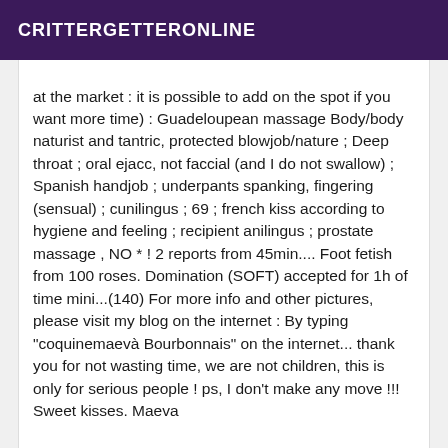CRITTERGETTERONLINE
at the market : it is possible to add on the spot if you want more time) : Guadeloupean massage Body/body naturist and tantric, protected blowjob/nature ; Deep throat ; oral ejacc, not faccial (and I do not swallow) ; Spanish handjob ; underpants spanking, fingering (sensual) ; cunilingus ; 69 ; french kiss according to hygiene and feeling ; recipient anilingus ; prostate massage , NO * ! 2 reports from 45min.... Foot fetish from 100 roses. Domination (SOFT) accepted for 1h of time mini...(140) For more info and other pictures, please visit my blog on the internet : By typing "coquinemaevà Bourbonnais" on the internet... thank you for not wasting time, we are not children, this is only for serious people ! ps, I don't make any move !!! Sweet kisses. Maeva
[Figure (photo): Bottom strip showing a partial image with a VIP badge in the top-right corner on a dark purple background]